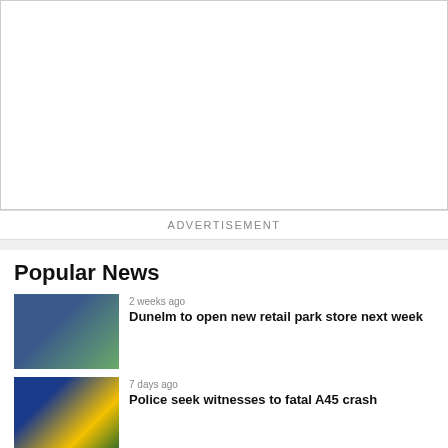[Figure (other): Advertisement placeholder box - white empty rectangle]
ADVERTISEMENT
Popular News
[Figure (photo): Dunelm store front exterior with signage]
2 weeks ago
Dunelm to open new retail park store next week
[Figure (photo): Police Accident sign with police vehicle in background]
7 days ago
Police seek witnesses to fatal A45 crash
[Figure (photo): Group of people with beards at British Beard and Moustache Championship in Rugby]
6 days ago
LOOK: Furry-faced funsters flock to Rugby for British Beard and Moustache Championship